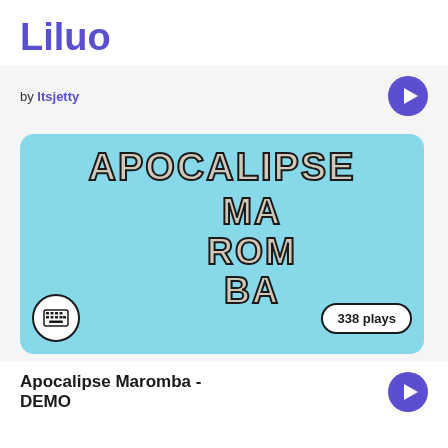Liluo
by Itsjetty
[Figure (illustration): Music track card with light blue rounded rectangle background showing 'APOCALIPSE' in large cracked stone-style letters at top, then 'MA ROM BA' staggered below center-right, keyboard instrument icon at bottom-left, and '338 plays' badge at bottom-right.]
Apocalipse Maromba - DEMO